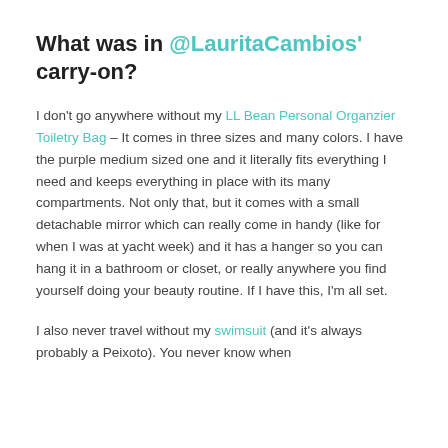What was in @LauritaCambios' carry-on?
I don't go anywhere without my LL Bean Personal Organzier Toiletry Bag – It comes in three sizes and many colors. I have the purple medium sized one and it literally fits everything I need and keeps everything in place with its many compartments. Not only that, but it comes with a small detachable mirror which can really come in handy (like for when I was at yacht week) and it has a hanger so you can hang it in a bathroom or closet, or really anywhere you find yourself doing your beauty routine. If I have this, I'm all set.
I also never travel without my swimsuit (and it's always probably a Peixoto). You never know when